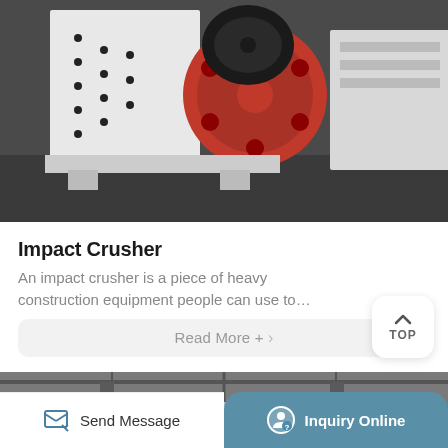[Figure (photo): Impact crusher machine with white body and red flywheel, placed on a factory floor. A large black pulley/belt wheel is visible.]
Impact Crusher
An impact crusher is a piece of heavy construction equipment people can use to...
Read More + >
[Figure (photo): Interior of a large industrial factory/warehouse with steel roof structure, natural lighting from windows, and heavy machinery visible at the bottom.]
Send Message
Inquiry Online